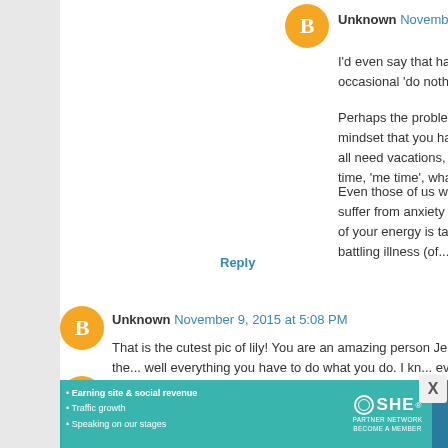Unknown November 9, 2015 at 7:27 PM
I'd even say that having the occasional 'do nothing'
Perhaps the problem is the mindset that you have... We all need vacations, down-time, 'me time', whate...
Even those of us who don't suffer from anxiety or... much of your energy is taken up battling illness (of...
Reply
Unknown November 9, 2015 at 5:08 PM
That is the cutest pic of lily! You are an amazing person Je... had the... well everything you have to do what you do. I kn... even in what you feel to be your darkest, you inspire. I hop... you've done, but for now, I'm content with going to the sites...
You. Are. Fab! Don't forget that!
Reply
Beth November 9, 2015 at 5:17 PM
[Figure (screenshot): SHE Partner Network advertisement banner with photo of woman, bullet points about earning site & social revenue, traffic growth, speaking on our stages, SHE logo, and LEARN MORE button]